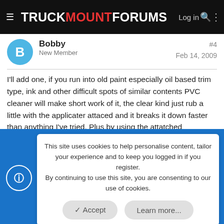TRUCK MOUNT FORUMS | Log in
Bobby
New Member
#4
Feb 14, 2009
I'll add one, if you run into old paint especially oil based trim type, ink and other difficult spots of similar contents PVC cleaner will make short work of it, the clear kind just rub a little with the applicater attaced and it breaks it down faster than anything I've tried. Plus by using the attatched applicater you wont have to worry about getting to much down and possibly damaging the backing. I got this tip from a guy who does apartment maitenance.
This site uses cookies to help personalise content, tailor your experience and to keep you logged in if you register.
By continuing to use this site, you are consenting to our use of cookies.